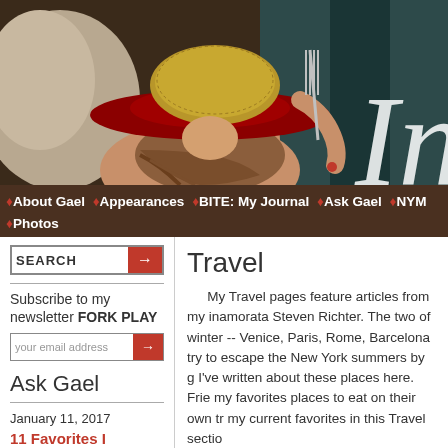[Figure (photo): Website header banner showing a woman in a large red hat with golden texture, holding a fork, against a teal/dark background. Large italic 'In' text overlay on right side.]
♦About Gael ♦Appearances ♦BITE: My Journal ♦Ask Gael ♦NYM ♦Photos
SEARCH
Subscribe to my newsletter FORK PLAY
your email address
Ask Gael
January 11, 2017
11 Favorites I Discovered in 2016
I've been going out for dinner six nights a week
Travel
My Travel pages feature articles from my inamorata Steven Richter. The two of winter -- Venice, Paris, Rome, Barcelona try to escape the New York summers by g I've written about these places here. Frie my favorites places to eat on their own tr my current favorites in this Travel sectio
November 13, 2012 | Travel Feature
Inn at Little Washington